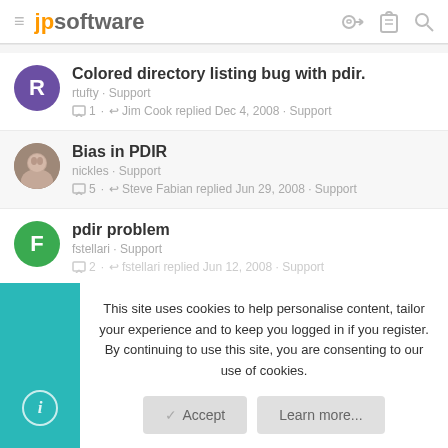jp software
Colored directory listing bug with pdir.
rtufty · Support
1 · Jim Cook replied Dec 4, 2008 · Support
Bias in PDIR
nickles · Support
5 · Steve Fabian replied Jun 29, 2008 · Support
pdir problem
fstellari · Support
2 · fstellari replied Jun 12, 2008 · Support
This site uses cookies to help personalise content, tailor your experience and to keep you logged in if you register.
By continuing to use this site, you are consenting to our use of cookies.